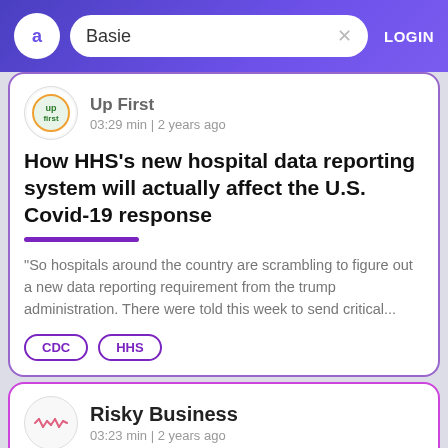Basie  LOGIN
Up First
03:29 min | 2 years ago
How HHS’s new hospital data reporting system will actually affect the U.S. Covid-19 response
“So hospitals around the country are scrambling to figure out a new data reporting requirement from the trump administration. There were told this week to send critical…
CDC
HHS
Risky Business
03:23 min | 2 years ago